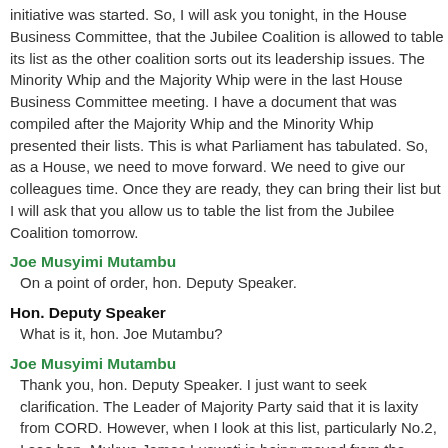initiative was started. So, I will ask you tonight, in the House Business Committee, that the Jubilee Coalition is allowed to table its list as the other coalition sorts out its leadership issues. The Minority Whip and the Majority Whip were in the last House Business Committee meeting. I have a document that was compiled after the Majority Whip and the Minority Whip presented their lists. This is what Parliament has tabulated. So, as a House, we need to move forward. We need to give our colleagues time. Once they are ready, they can bring their list but I will ask that you allow us to table the list from the Jubilee Coalition tomorrow.
Joe Musyimi Mutambu
On a point of order, hon. Deputy Speaker.
Hon. Deputy Speaker
What is it, hon. Joe Mutambu?
Joe Musyimi Mutambu
Thank you, hon. Deputy Speaker. I just want to seek clarification. The Leader of Majority Party said that it is laxity from CORD. However, when I look at this list, particularly No.2, I see hon. Mukwe James Lusweti is being moved from the Departmental